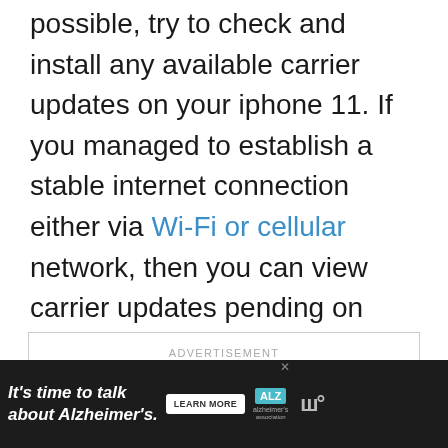possible, try to check and install any available carrier updates on your iphone 11. If you managed to establish a stable internet connection either via Wi-Fi or cellular network, then you can view carrier updates pending on your phone settings with these steps:
[Figure (other): Advertisement placeholder box with 'ADVERTISEMENT' label in light gray uppercase text]
[Figure (other): Bottom banner advertisement for Alzheimer's Association: 'It's time to talk about Alzheimer's.' with Learn More button, ALZ logo, Alzheimer's Association logo, and WW logo. Dark background.]